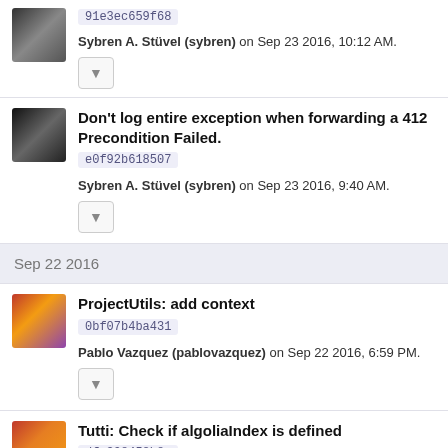91e3ec659f68
Sybren A. Stüvel (sybren) on Sep 23 2016, 10:12 AM.
Don't log entire exception when forwarding a 412 Precondition Failed.
e0f92b618507
Sybren A. Stüvel (sybren) on Sep 23 2016, 9:40 AM.
Sep 22 2016
ProjectUtils: add context
0bf07b4ba431
Pablo Vazquez (pablovazquez) on Sep 22 2016, 6:59 PM.
Tutti: Check if algoliaIndex is defined
dfe398458b8c